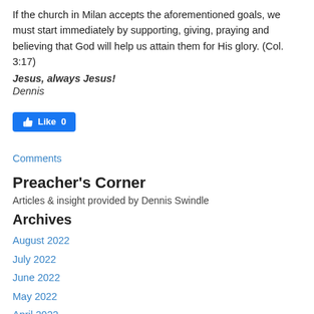If the church in Milan accepts the aforementioned goals, we must start immediately by supporting, giving, praying and believing that God will help us attain them for His glory. (Col. 3:17)
Jesus, always Jesus!
Dennis
[Figure (other): Facebook Like button showing Like 0]
Comments
Preacher's Corner
Articles & insight provided by Dennis Swindle
Archives
August 2022
July 2022
June 2022
May 2022
April 2022
March 2022